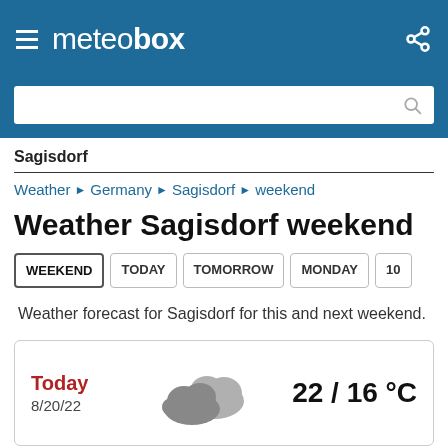meteobox
Sagisdorf
Weather » Germany » Sagisdorf » weekend
Weather Sagisdorf weekend
WEEKEND
TODAY
TOMORROW
MONDAY
10
Weather forecast for Sagisdorf for this and next weekend.
| Day | Icon | Temperature |
| --- | --- | --- |
| Today
8/20/22 | cloudy | 22 / 16 °C |